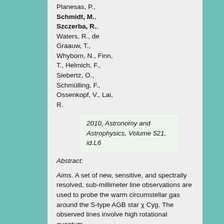Planesas, P., Schmidt, M., Szczerba, R., Waters, R., de Graauw, T., Whyborn, N., Finn, T., Helmich, F., Siebertz, O., Schmülling, F., Ossenkopf, V., Lai, R.
2010, Astronomy and Astrophysics, Volume 521, id.L6
Abstract:
Aims. A set of new, sensitive, and spectrally resolved, sub-millimeter line observations are used to probe the warm circumstellar gas around the S-type AGB star χ Cyg. The observed lines involve high rotational quantum